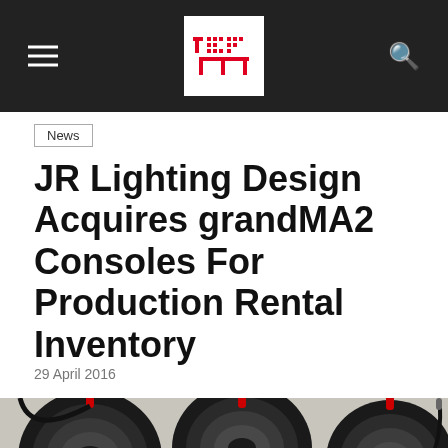tpi
News
JR Lighting Design Acquires grandMA2 Consoles For Production Rental Inventory
29 April 2016
[Figure (photo): grandMA2 lighting consoles with cables and equipment visible on a production desk]